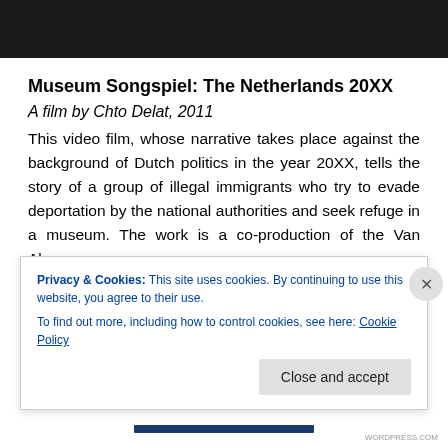[Figure (photo): Dark/black image at top of page, appears to be a film still or video screenshot]
Museum Songspiel: The Netherlands 20XX
A film by Chto Delat, 2011
This video film, whose narrative takes place against the background of Dutch politics in the year 20XX, tells the story of a group of illegal immigrants who try to evade deportation by the national authorities and seek refuge in a museum. The work is a co-production of the Van Ab... ...SMART Project Space and Chto Delat
Privacy & Cookies: This site uses cookies. By continuing to use this website, you agree to their use.
To find out more, including how to control cookies, see here: Cookie Policy
Close and accept